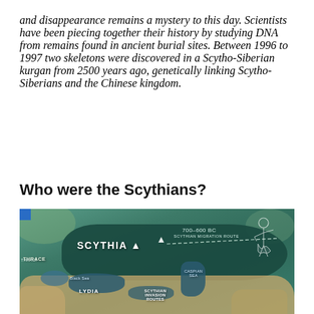and disappearance remains a mystery to this day. Scientists have been piecing together their history by studying DNA from remains found in ancient burial sites. Between 1996 to 1997 two skeletons were discovered in a Scytho-Siberian kurgan from 2500 years ago, genetically linking Scytho-Siberians and the Chinese kingdom.
Who were the Scythians?
[Figure (map): Historical map showing the territory of Scythia (700-600 BC) with Scythian migration route marked by a dashed line extending eastward. The map shows surrounding regions including Thrace, Lydia, Black Sea, Caspian Sea, and depicts Scythian invasion routes. A decorative figure of a Scythian warrior/deity appears on the right side.]